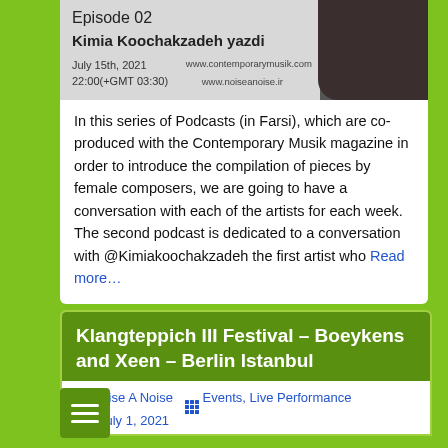[Figure (photo): Episode 02 podcast banner featuring Kimia Koochakzadeh yazdi, July 15th 2021, 22:00 (+GMT 03:30), with website URLs www.contemporarymusik.com and www.noiseanoise.ir, alongside a dark silhouette photo]
In this series of Podcasts (in Farsi), which are co-produced with the Contemporary Musik magazine in order to introduce the compilation of pieces by female composers, we are going to have a conversation with each of the artists for each week. The second podcast is dedicated to a conversation with @Kimiakoochakzadeh the first artist who Read more…
Klangteppich III Festival – Boeykens and Xeen – Berlin Istanbul
Noise A Noise  Events, Live Performance  July 1, 2021